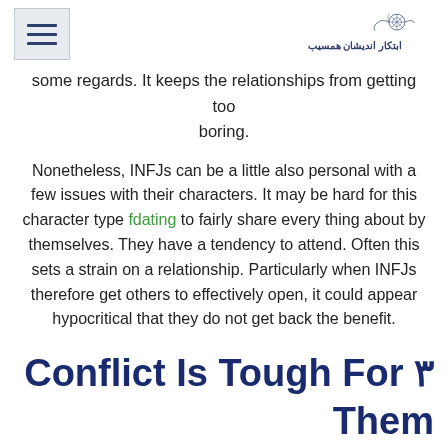[hamburger menu icon] [site logo in Persian]
some regards. It keeps the relationships from getting too boring.
Nonetheless, INFJs can be a little also personal with a few issues with their characters. It may be hard for this character type fdating to fairly share every thing about by themselves. They have a tendency to attend. Often this sets a strain on a relationship. Particularly when INFJs therefore get others to effectively open, it could appear hypocritical that they do not get back the benefit.
Conflict Is Tough For ۳ Them